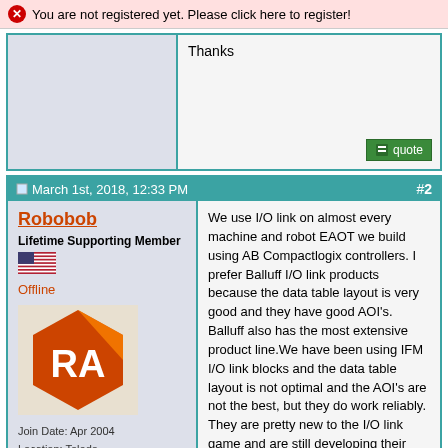You are not registered yet. Please click here to register!
Thanks
March 1st, 2018, 12:33 PM  #2
Robobob
Lifetime Supporting Member
Offline
Join Date: Apr 2004
Location: Toledo
Posts: 266
We use I/O link on almost every machine and robot EAOT we build using AB Compactlogix controllers. I prefer Balluff I/O link products because the data table layout is very good and they have good AOI's. Balluff also has the most extensive product line.We have been using IFM I/O link blocks and the data table layout is not optimal and the AOI's are not the best, but they do work reliably. They are pretty new to the I/O link game and are still developing their product line. We are using them because of price.